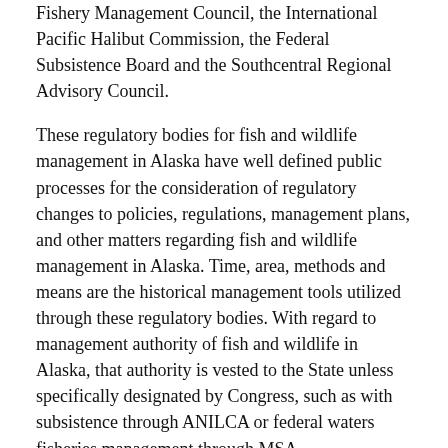Fishery Management Council, the International Pacific Halibut Commission, the Federal Subsistence Board and the Southcentral Regional Advisory Council.
These regulatory bodies for fish and wildlife management in Alaska have well defined public processes for the consideration of regulatory changes to policies, regulations, management plans, and other matters regarding fish and wildlife management in Alaska. Time, area, methods and means are the historical management tools utilized through these regulatory bodies. With regard to management authority of fish and wildlife in Alaska, that authority is vested to the State unless specifically designated by Congress, such as with subsistence through ANILCA or federal waters fisheries management through MSA.
Our concern with the proposed rule is that it sets the precedence for the USFWS to act independently of these established regulatory bodies to create regulations for time, area, methods and means for fishing and hunting activities on federal refuge lands. While the proposed rule is focused this time on wildlife